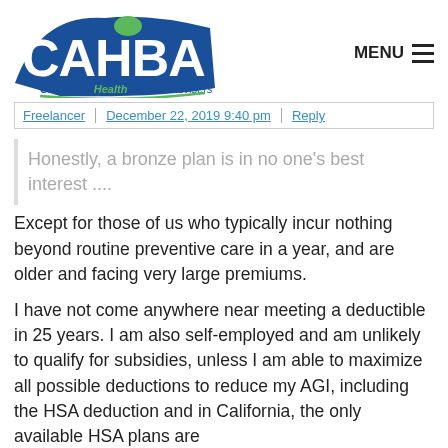[Figure (logo): CAHBA - California Health Benefit Advisers logo with blue block letters and green accent]
MENU ≡
Freelancer | December 22, 2019 9:40 pm | Reply
Honestly, a bronze plan is in no one's best interest ....
Except for those of us who typically incur nothing beyond routine preventive care in a year, and are older and facing very large premiums.
I have not come anywhere near meeting a deductible in 25 years. I am also self-employed and am unlikely to qualify for subsidies, unless I am able to maximize all possible deductions to reduce my AGI, including the HSA deduction and in California, the only available HSA plans are